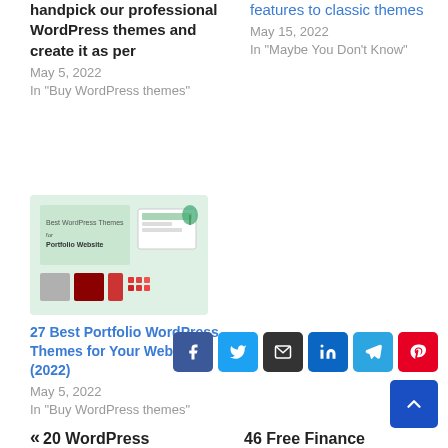handpick our professional WordPress themes and create it as per
May 5, 2022
In "Buy WordPress themes"
features to classic themes
May 15, 2022
In "Maybe You Don't Know"
[Figure (screenshot): Thumbnail image for '27 Best Portfolio WordPress Themes for Your Website (2022)' blog post, showing a light green background with text and website mockup graphics]
27 Best Portfolio WordPress Themes for Your Website (2022)
May 5, 2022
In "Buy WordPress themes"
20 WordPress
46 Free Finance